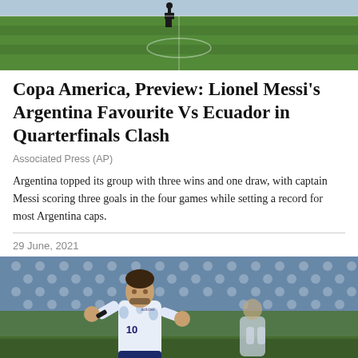[Figure (photo): Top portion of a football/soccer field photo showing green grass and a player in the background]
Copa America, Preview: Lionel Messi's Argentina Favourite Vs Ecuador in Quarterfinals Clash
Associated Press (AP)
Argentina topped its group with three wins and one draw, with captain Messi scoring three goals in the four games while setting a record for most Argentina caps.
29 June, 2021
[Figure (photo): Lionel Messi wearing Argentina jersey number 10 celebrating on the football pitch with a blurred stadium background]